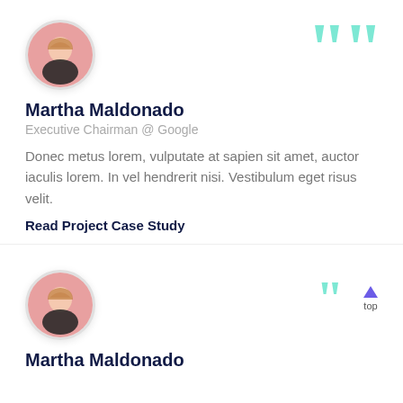[Figure (photo): Circular avatar photo of Martha Maldonado, woman with blonde hair, pink background]
Martha Maldonado
Executive Chairman @ Google
Donec metus lorem, vulputate at sapien sit amet, auctor iaculis lorem. In vel hendrerit nisi. Vestibulum eget risus velit.
Read Project Case Study
[Figure (photo): Circular avatar photo of Martha Maldonado, woman with blonde hair, pink background (second card)]
Martha Maldonado